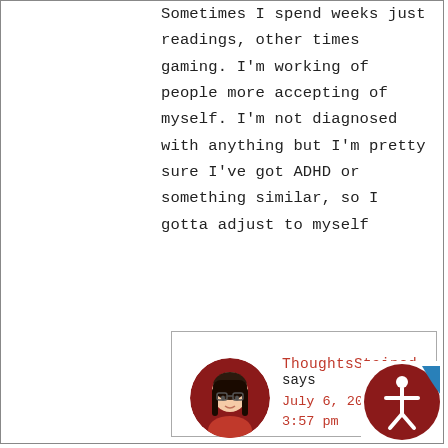Sometimes I spend weeks just readings, other times gaming. I'm working of people more accepting of myself. I'm not diagnosed with anything but I'm pretty sure I've got ADHD or something similar, so I gotta adjust to myself
Reply
ThoughtsStained says
July 6, 2022 at 3:57 pm
I really like this flexible